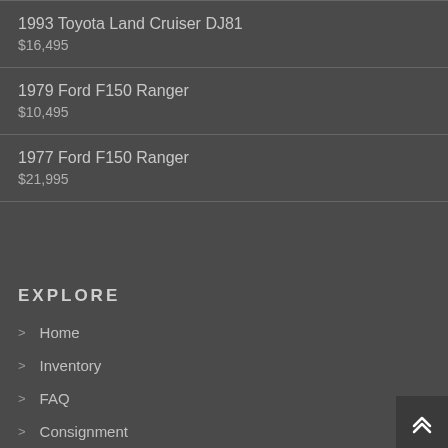1993 Toyota Land Cruiser DJ81
$16,495
1979 Ford F150 Ranger
$10,495
1977 Ford F150 Ranger
$21,995
EXPLORE
> Home
> Inventory
> FAQ
> Consignment